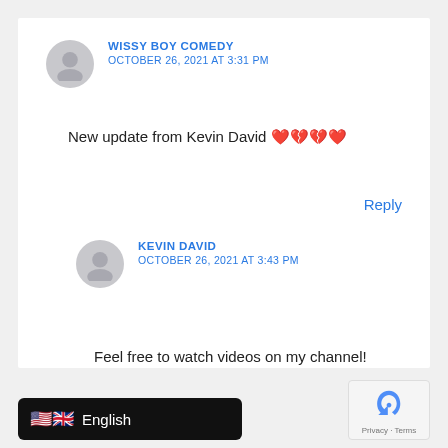WISSY BOY COMEDY
OCTOBER 26, 2021 AT 3:31 PM
New update from Kevin David 💖💔💔💖
Reply
KEVIN DAVID
OCTOBER 26, 2021 AT 3:43 PM
Feel free to watch videos on my channel!
🇺🇸🇬🇧 English
[Figure (logo): reCAPTCHA logo with Privacy and Terms text]